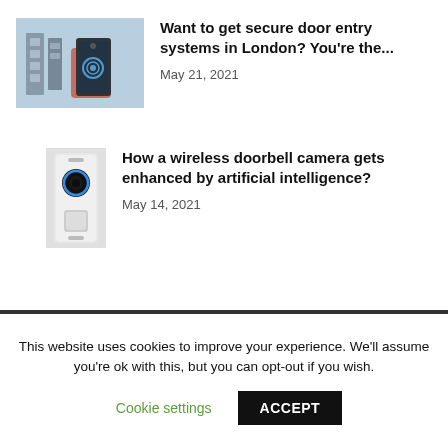[Figure (photo): Person holding a smartphone near a door entry keypad system]
Want to get secure door entry systems in London? You're the...
May 21, 2021
[Figure (photo): Wireless video doorbell camera with blue ring light]
How a wireless doorbell camera gets enhanced by artificial intelligence?
May 14, 2021
This website uses cookies to improve your experience. We'll assume you're ok with this, but you can opt-out if you wish.
Cookie settings
ACCEPT